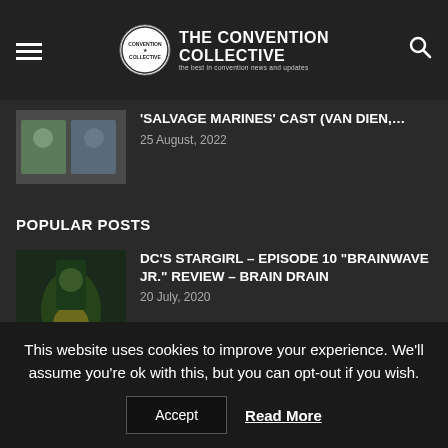The Convention Collective — the best in convention news and updates
'SALVAGE MARINES' CAST (VAN DIEN,...
25 August, 2022
POPULAR POSTS
DC'S STARGIRL – EPISODE 10 "BRAINWAVE JR." REVIEW – BRAIN DRAIN
20 July, 2020
LACC 2019: GUEST AND PANEL
This website uses cookies to improve your experience. We'll assume you're ok with this, but you can opt-out if you wish.